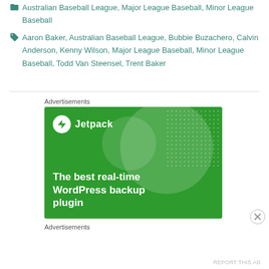🏷 Australian Baseball League, Major League Baseball, Minor League Baseball
🏷 Aaron Baker, Australian Baseball League, Bubbie Buzachero, Calvin Anderson, Kenny Wilson, Major League Baseball, Minor League Baseball, Todd Van Steensel, Trent Baker
Advertisements
[Figure (screenshot): Jetpack WordPress plugin advertisement banner. Green background with large circular light overlays and dot pattern. Shows Jetpack logo (white circle with lightning bolt icon) and text 'Jetpack'. Tagline reads: 'The best real-time WordPress backup plugin']
Advertisements
REPORT THIS AD